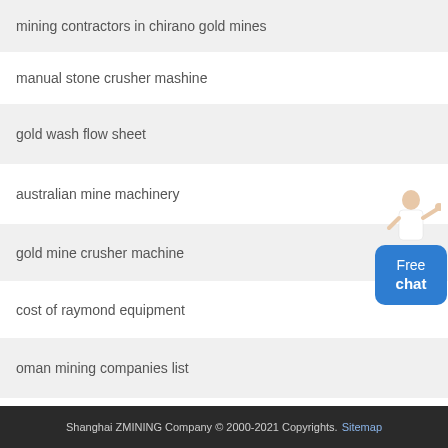mining contractors in chirano gold mines
manual stone crusher mashine
gold wash flow sheet
australian mine machinery
gold mine crusher machine
cost of raymond equipment
oman mining companies list
Shanghai ZMINING Company © 2000-2021 Copyrights. Sitemap